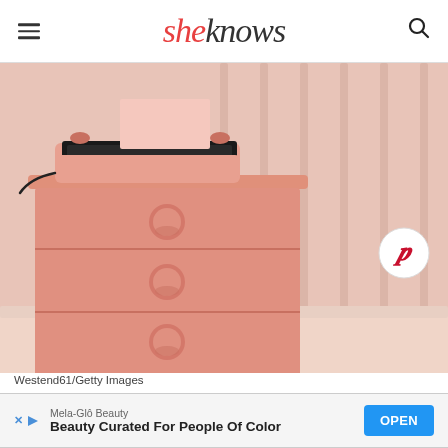sheknows
[Figure (photo): A pink mid-century modern dresser with three drawers and circular drawer pulls, topped with a pink typewriter, set against a pink paneled wall. A Pinterest share button is overlaid in the bottom right corner.]
Westend61/Getty Images
Mela-Glô Beauty
Beauty Curated For People Of Color  OPEN